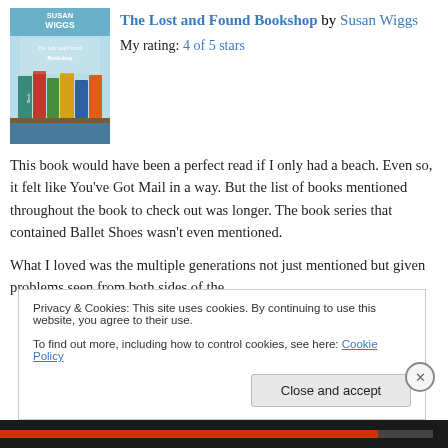[Figure (illustration): Book cover of 'The Lost and Found Bookshop' by Susan Wiggs, showing colorful books on a shelf with a teal/blue sky background and the author's name at top.]
The Lost and Found Bookshop by Susan Wiggs
My rating: 4 of 5 stars
This book would have been a perfect read if I only had a beach. Even so, it felt like You've Got Mail in a way. But the list of books mentioned throughout the book to check out was longer. The book series that contained Ballet Shoes wasn't even mentioned.
What I loved was the multiple generations not just mentioned but given problems seen from both sides of the
Privacy & Cookies: This site uses cookies. By continuing to use this website, you agree to their use.
To find out more, including how to control cookies, see here: Cookie Policy
Close and accept